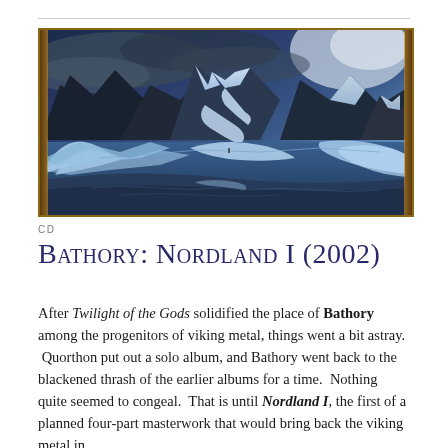[Figure (illustration): Epic fantasy/viking landscape painting showing snow-capped mountains with dramatic stormy blue sky, glacial ice formations and a still reflective water in the foreground, framed with wooden border. Album artwork for Bathory Nordland I.]
CD
Bathory: Nordland I (2002)
After Twilight of the Gods solidified the place of Bathory among the progenitors of viking metal, things went a bit astray.  Quorthon put out a solo album, and Bathory went back to the blackened thrash of the earlier albums for a time.  Nothing quite seemed to congeal.  That is until Nordland I, the first of a planned four-part masterwork that would bring back the viking metal in